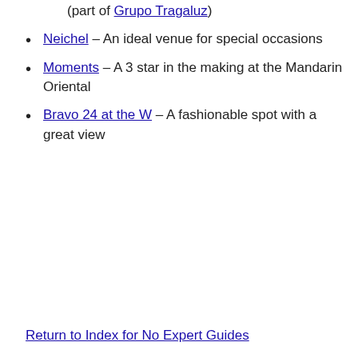(part of Grupo Tragaluz)
Neichel – An ideal venue for special occasions
Moments – A 3 star in the making at the Mandarin Oriental
Bravo 24 at the W – A fashionable spot with a great view
Return to Index for No Expert Guides